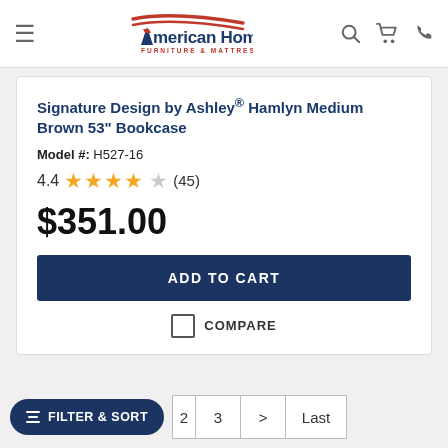[Figure (logo): American Home Furniture & Mattress logo with red swoosh lines above navy blue text]
Signature Design by Ashley® Hamlyn Medium Brown 53" Bookcase
Model #: H527-16
4.4 ★★★★☆ (45)
$351.00
ADD TO CART
COMPARE
FILTER & SORT
2  3  >  Last